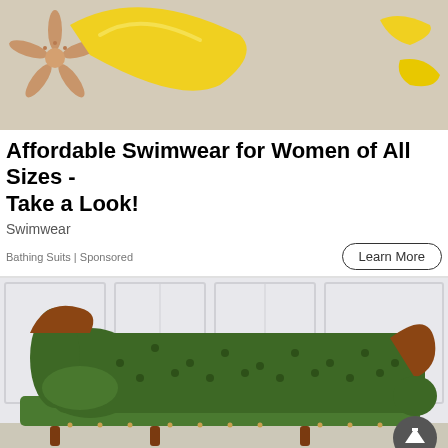[Figure (photo): Photo of a starfish and yellow banana-shaped decorative items on a light gray background]
Affordable Swimwear for Women of All Sizes - Take a Look!
Swimwear
Bathing Suits | Sponsored
[Figure (photo): Photo of a Victorian-style green velvet tufted chaise lounge sofa with ornate wooden carved frame, against a white wainscoting wall background]
[Figure (photo): Advertisement banner: left side shows a mountain biker on a forest trail, right side shows text 'Mountain Bikes']